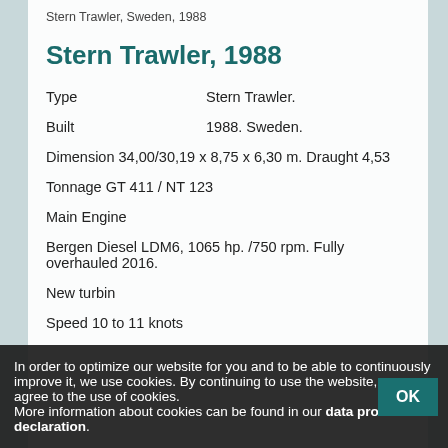Stern Trawler, Sweden, 1988
Stern Trawler, 1988
Type    Stern Trawler.
Built    1988. Sweden.
Dimension 34,00/30,19 x 8,75 x 6,30 m. Draught 4,53
Tonnage GT 411 / NT 123
Main Engine
Bergen Diesel LDM6, 1065 hp. /750 rpm. Fully overhauled 2016.
New turbin
Speed 10 to 11 knots
2 x Cummins NT 855-G3, 231 kW. Both engines complete overhauled.
In order to optimize our website for you and to be able to continuously improve it, we use cookies. By continuing to use the website, you agree to the use of cookies. More information about cookies can be found in our data protection declaration.